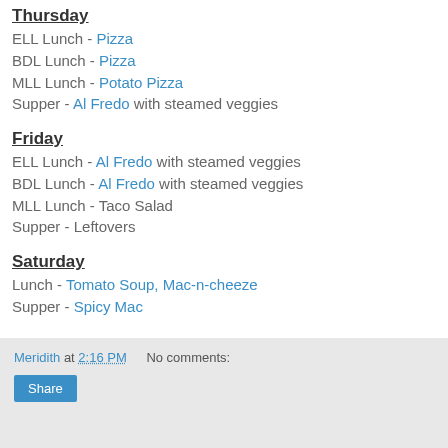Thursday
ELL Lunch - Pizza
BDL Lunch - Pizza
MLL Lunch - Potato Pizza
Supper - Al Fredo with steamed veggies
Friday
ELL Lunch - Al Fredo with steamed veggies
BDL Lunch - Al Fredo with steamed veggies
MLL Lunch - Taco Salad
Supper - Leftovers
Saturday
Lunch - Tomato Soup, Mac-n-cheeze
Supper - Spicy Mac
Meridith at 2:16 PM   No comments:   Share